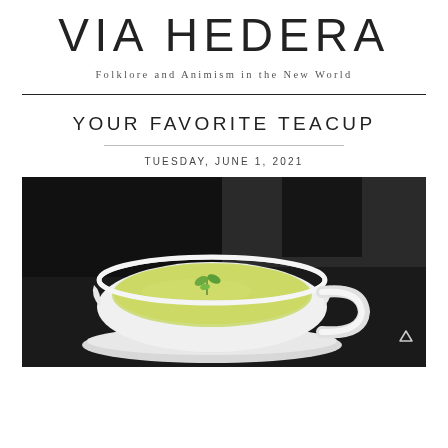VIA HEDERA
Folklore and Animism in the New World
YOUR FAVORITE TEACUP
TUESDAY, JUNE 1, 2021
[Figure (photo): A white scalloped teacup filled with light green herbal tea, garnished with a small green sprig, photographed on a dark background.]